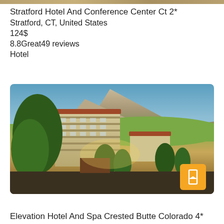[Figure (photo): Partial hotel image visible at the very top of the page]
Stratford Hotel And Conference Center Ct 2*
Stratford, CT, United States
124$
8.8Great49 reviews
Hotel
[Figure (photo): Hotel building with mountain backdrop, trees in foreground, warm golden lighting, orange bookmark badge in bottom right corner]
Elevation Hotel And Spa Crested Butte Colorado 4*